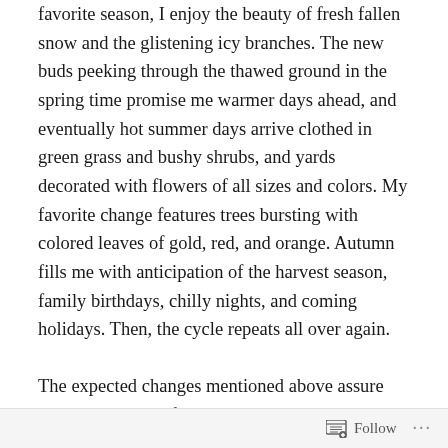favorite season, I enjoy the beauty of fresh fallen snow and the glistening icy branches. The new buds peeking through the thawed ground in the spring time promise me warmer days ahead, and eventually hot summer days arrive clothed in green grass and bushy shrubs, and yards decorated with flowers of all sizes and colors. My favorite change features trees bursting with colored leaves of gold, red, and orange. Autumn fills me with anticipation of the harvest season, family birthdays, chilly nights, and coming holidays. Then, the cycle repeats all over again.
The expected changes mentioned above assure me that the God of Design brings stability through variety. The star constellations and moon phases follow a pattern of change due to the planet's location to the sun, but the star patterns and moon are still recognizable. However,
Follow ···